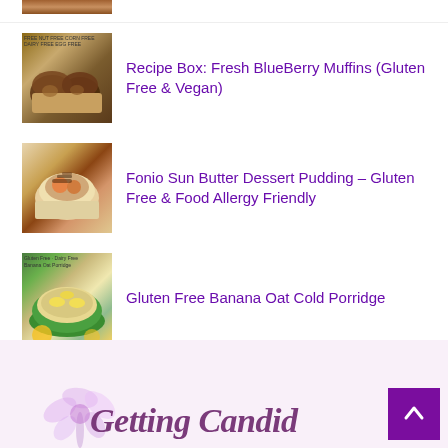[Figure (photo): Partial top thumbnail of food item (cropped)]
[Figure (photo): Thumbnail of blueberry muffins on a plate]
Recipe Box: Fresh BlueBerry Muffins (Gluten Free & Vegan)
[Figure (photo): Thumbnail of Fonio Sun Butter Dessert Pudding in a bowl]
Fonio Sun Butter Dessert Pudding – Gluten Free & Food Allergy Friendly
[Figure (photo): Thumbnail of Gluten Free Banana Oat Cold Porridge in a green bowl]
Gluten Free Banana Oat Cold Porridge
Overnight Cinnamon and Vanilla Chia Pudding
[Figure (logo): Getting Candid logo with purple flower illustration and stylized text]